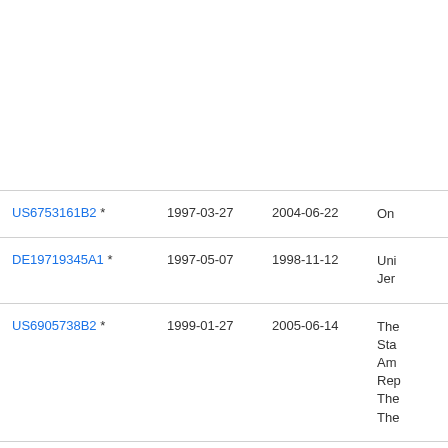| Patent | Filing Date | Publication Date | Assignee |
| --- | --- | --- | --- |
| US6753161B2 * | 1997-03-27 | 2004-06-22 | On… |
| DE19719345A1 * | 1997-05-07 | 1998-11-12 | Uni… Jer… |
| US6905738B2 * | 1999-01-27 | 2005-06-14 | The… Sta… Am… Rep… The… The… |
| US6936311B2 * | 1999-01-27 | 2005-08-30 | The… Sta… Am… Rep… The… |